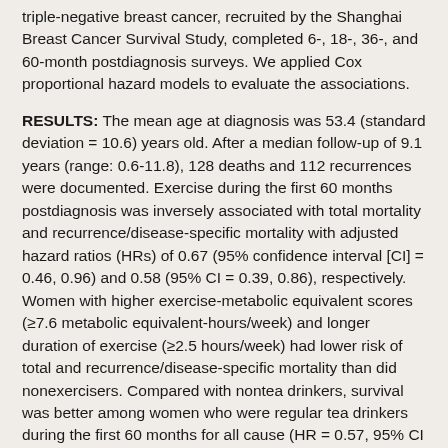triple-negative breast cancer, recruited by the Shanghai Breast Cancer Survival Study, completed 6-, 18-, 36-, and 60-month postdiagnosis surveys. We applied Cox proportional hazard models to evaluate the associations.
RESULTS: The mean age at diagnosis was 53.4 (standard deviation = 10.6) years old. After a median follow-up of 9.1 years (range: 0.6-11.8), 128 deaths and 112 recurrences were documented. Exercise during the first 60 months postdiagnosis was inversely associated with total mortality and recurrence/disease-specific mortality with adjusted hazard ratios (HRs) of 0.67 (95% confidence interval [CI] = 0.46, 0.96) and 0.58 (95% CI = 0.39, 0.86), respectively. Women with higher exercise-metabolic equivalent scores (≥7.6 metabolic equivalent-hours/week) and longer duration of exercise (≥2.5 hours/week) had lower risk of total and recurrence/disease-specific mortality than did nonexercisers. Compared with nontea drinkers, survival was better among women who were regular tea drinkers during the first 60 months for all cause (HR = 0.57, 95% CI = 0.34, 0.93) and